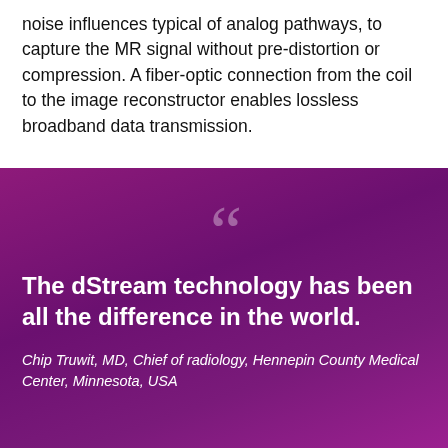noise influences typical of analog pathways, to capture the MR signal without pre-distortion or compression. A fiber-optic connection from the coil to the image reconstructor enables lossless broadband data transmission.
The dStream technology has been all the difference in the world.
Chip Truwit, MD, Chief of radiology, Hennepin County Medical Center, Minnesota, USA